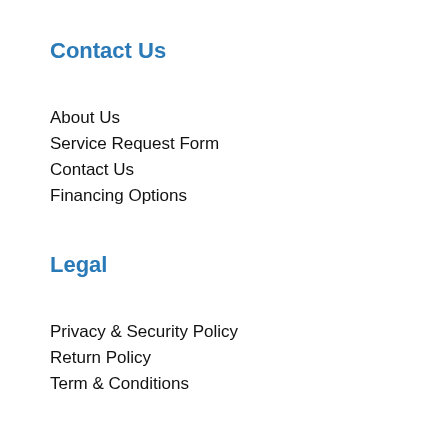Contact Us
About Us
Service Request Form
Contact Us
Financing Options
Legal
Privacy & Security Policy
Return Policy
Term & Conditions